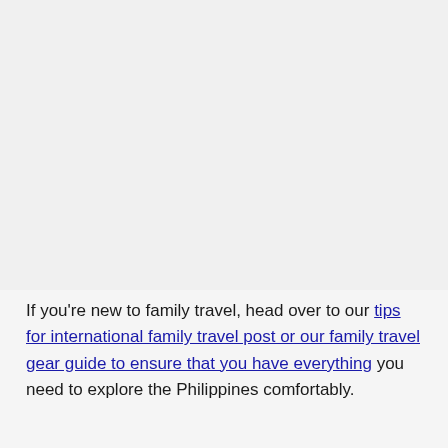[Figure (photo): Large image placeholder at the top of the page, light gray background]
If you're new to family travel, head over to our tips for international family travel post or our family travel gear guide to ensure that you have everything you need to explore the Philippines comfortably.